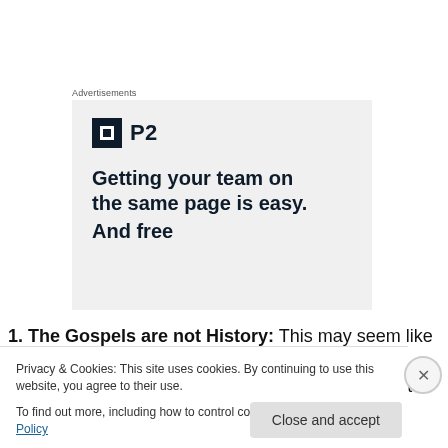Advertisements
[Figure (illustration): P2 advertisement with logo and tagline 'Getting your team on the same page is easy. And free.']
1. The Gospels are not History: This may seem like a paltry excuse for the number one spot on a list that makes
Privacy & Cookies: This site uses cookies. By continuing to use this website, you agree to their use.
To find out more, including how to control cookies, see here: Cookie Policy
Close and accept